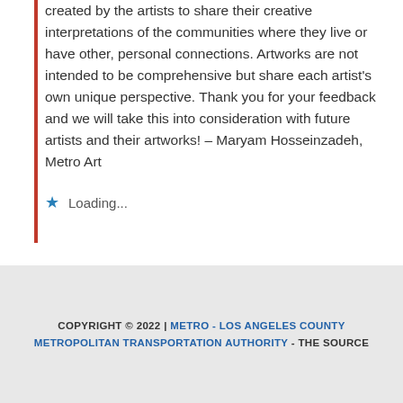created by the artists to share their creative interpretations of the communities where they live or have other, personal connections. Artworks are not intended to be comprehensive but share each artist's own unique perspective. Thank you for your feedback and we will take this into consideration with future artists and their artworks! – Maryam Hosseinzadeh, Metro Art
Loading...
COPYRIGHT © 2022 | METRO - LOS ANGELES COUNTY METROPOLITAN TRANSPORTATION AUTHORITY - THE SOURCE